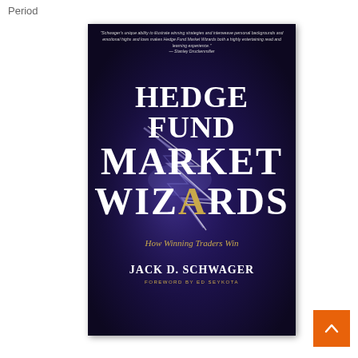Period
[Figure (photo): Book cover of 'Hedge Fund Market Wizards: How Winning Traders Win' by Jack D. Schwager, foreword by Ed Seykota. Dark purple/navy background with lightning bolt imagery. Quote at top by Stanley Druckenmiller. Subtitle 'How Winning Traders Win' in gold italic text.]